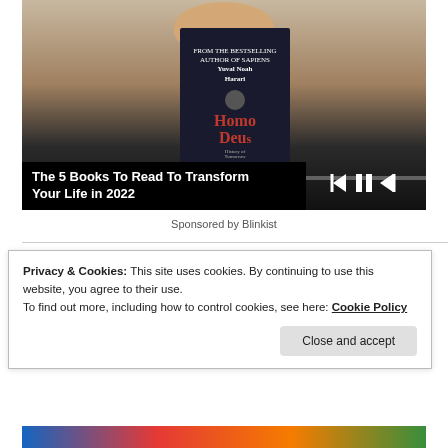[Figure (screenshot): Video thumbnail showing a man holding the book 'Homo Deus' by Yuval Noah Harari in front of his face, with a black title overlay reading 'The 5 Books To Read To Transform Your Life in 2022'. Yellow decorative circles visible in background. Video playback controls shown at bottom right.]
Sponsored by Blinkist
Privacy & Cookies: This site uses cookies. By continuing to use this website, you agree to their use.
To find out more, including how to control cookies, see here: Cookie Policy
Close and accept